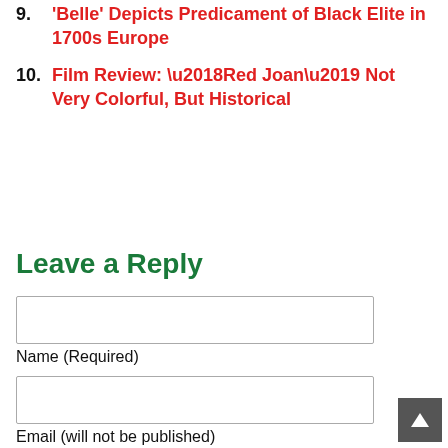9. 'Belle' Depicts Predicament of Black Elite in 1700s Europe
10. Film Review: ‘Red Joan’ Not Very Colorful, But Historical
Leave a Reply
Name (Required)
Email (will not be published) (Required)
Website